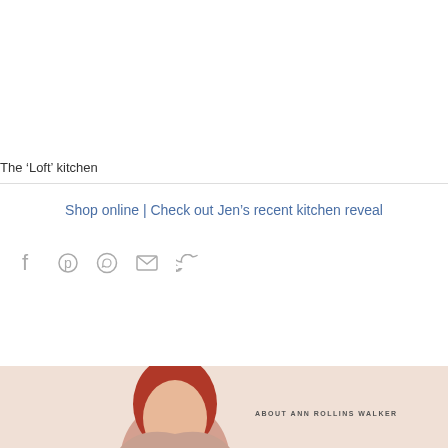The ‘Loft’ kitchen
Shop online | Check out Jen’s recent kitchen reveal
[Figure (infographic): Social media share icons: Facebook, Pinterest, WhatsApp, Email, Twitter]
[Figure (photo): Bottom strip with peach/salmon background showing a woman with red hair and text ABOUT ANN ROLLINGS WALKER]